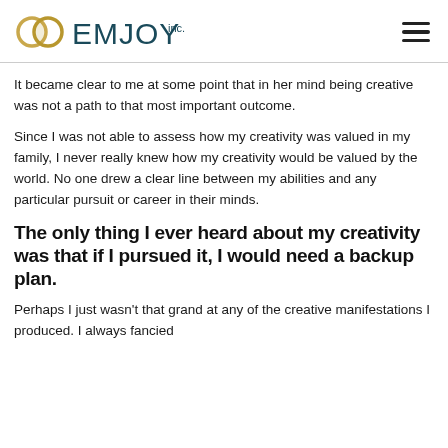EMJOY inc.
It became clear to me at some point that in her mind being creative was not a path to that most important outcome.
Since I was not able to assess how my creativity was valued in my family, I never really knew how my creativity would be valued by the world. No one drew a clear line between my abilities and any particular pursuit or career in their minds.
The only thing I ever heard about my creativity was that if I pursued it, I would need a backup plan.
Perhaps I just wasn't that grand at any of the creative manifestations I produced. I always fancied